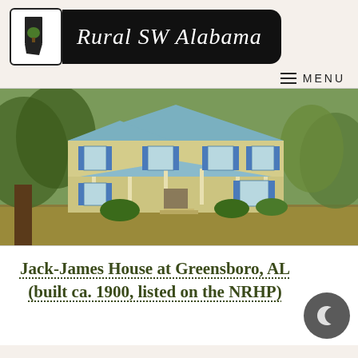Rural SW Alabama
[Figure (photo): A two-story Victorian-style house with yellow siding and blue shutters, a wraparound porch, and metal roof, surrounded by trees and a lawn.]
Jack-James House at Greensboro, AL (built ca. 1900, listed on the NRHP)